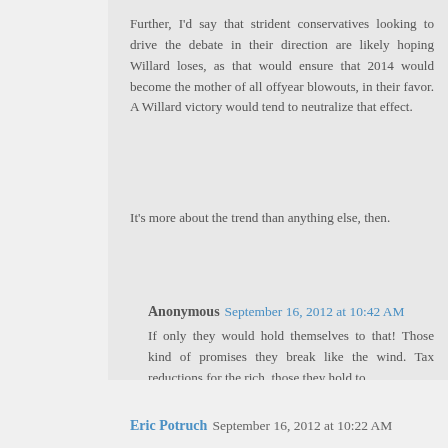Further, I'd say that strident conservatives looking to drive the debate in their direction are likely hoping Willard loses, as that would ensure that 2014 would become the mother of all offyear blowouts, in their favor. A Willard victory would tend to neutralize that effect.
It's more about the trend than anything else, then.
Anonymous September 16, 2012 at 10:42 AM
If only they would hold themselves to that! Those kind of promises they break like the wind. Tax reductions for the rich, those they hold to.
Reply
Eric Potruch September 16, 2012 at 10:22 AM